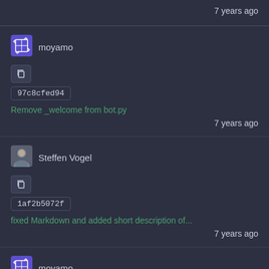7 years ago
[Figure (screenshot): moyamo user avatar - purple dice icon]
moyamo
[Figure (screenshot): Copy button icon]
97c8cfed94
Remove _welcome from bot.py
7 years ago
[Figure (photo): Steffen Vogel user avatar - person photo]
Steffen Vogel
[Figure (screenshot): Copy button icon]
1af2b5072f
fixed Markdown and added short description of...
7 years ago
[Figure (screenshot): moyamo user avatar - purple dice icon]
moyamo